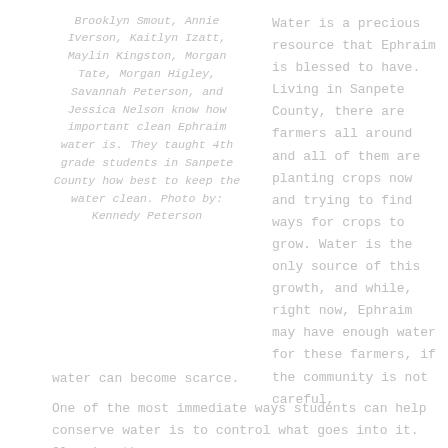Brooklyn Smout, Annie Iverson, Kaitlyn Izatt, Maylin Kingston, Morgan Tate, Morgan Higley, Savannah Peterson, and Jessica Nelson know how important clean Ephraim water is. They taught 4th grade students in Sanpete County how best to keep the water clean. Photo by: Kennedy Peterson
Water is a precious resource that Ephraim is blessed to have. Living in Sanpete County, there are farmers all around and all of them are planting crops now and trying to find ways for crops to grow. Water is the only source of this growth, and while, right now, Ephraim may have enough water for these farmers, if the community is not careful, water can become scarce.
One of the most immediate ways students can help conserve water is to control what goes into it. Cleaning the